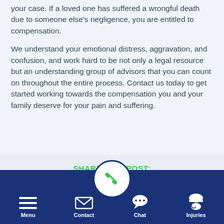your case. If a loved one has suffered a wrongful death due to someone else's negligence, you are entitled to compensation.
We understand your emotional distress, aggravation, and confusion, and work hard to be not only a legal resource but an understanding group of advisors that you can count on throughout the entire process. Contact us today to get started working towards the compensation you and your family deserve for your pain and suffering.
SHARE THIS POST:
[Figure (infographic): Social media share icons: Facebook, Twitter, LinkedIn]
[Figure (infographic): Navigation bar with Menu, Contact, Call (phone), Chat, and Injuries icons]